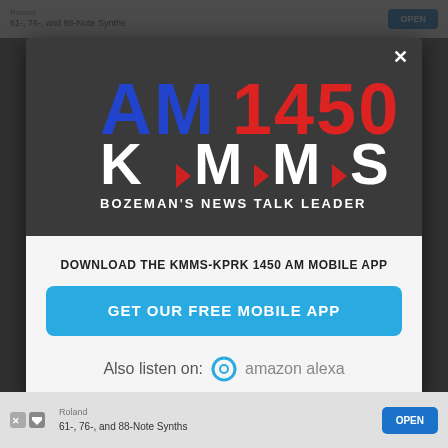[Figure (screenshot): Background page showing blurred website content with top ad bar for Roland 61-, 76-, and 88-Note Synths]
[Figure (logo): AM 1450 KMMS radio station logo. 'AM' in blue block letters, '1450' in red block letters, 'K•M•M•S' in white block letters with red arrows, 'BOZEMAN'S NEWS TALK LEADER' in white text below]
DOWNLOAD THE KMMS-KPRK 1450 AM MOBILE APP
GET OUR FREE MOBILE APP
Also listen on:  amazon alexa
[Figure (screenshot): Bottom advertisement bar showing Roland 61-, 76-, and 88-Note Synths with OPEN button]